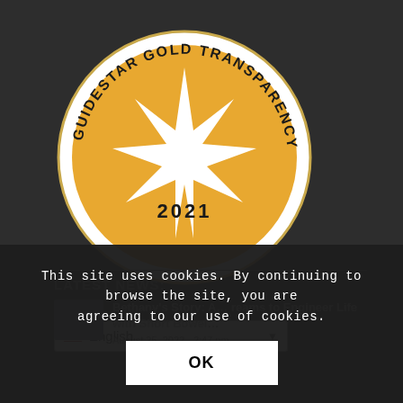[Figure (logo): GuideStar Gold Transparency 2021 seal/badge - circular gold badge with a starburst in the center, text around the border reading GUIDESTAR GOLD TRANSPARENCY and 2021 at the bottom]
[Figure (screenshot): Language selector dropdown showing US flag icon and the word English with a dropdown arrow]
LATEST NEWS:
Bethany's Story: A... reams to Engineer Life with Short Bowel...
August 25, 2022 - 2:47 pm
This site uses cookies. By continuing to browse the site, you are agreeing to our use of cookies.
OK